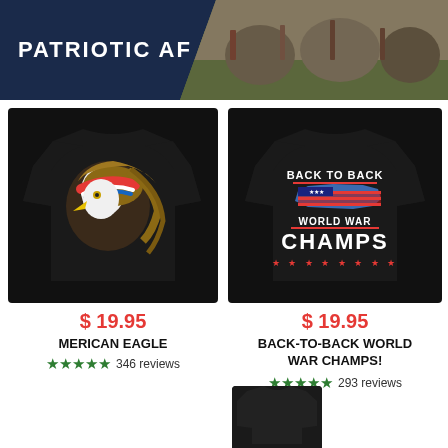PATRIOTIC AF
[Figure (photo): Black t-shirt with American eagle wearing bandana graphic]
$ 19.95
MERICAN EAGLE
★★★★★ 346 reviews
[Figure (photo): Black t-shirt with 'Back to Back World War Champs' graphic with US flag map]
$ 19.95
BACK-TO-BACK WORLD WAR CHAMPS!
★★★★★ 293 reviews